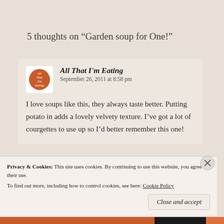5 thoughts on “Garden soup for One!”
All That I’m Eating  September 26, 2011 at 8:58 pm

I love soups like this, they always taste better. Putting potato in adds a lovely velvety texture. I’ve got a lot of courgettes to use up so I’d better remember this one!
Privacy & Cookies: This site uses cookies. By continuing to use this website, you agree to their use.
To find out more, including how to control cookies, see here: Cookie Policy
Close and accept